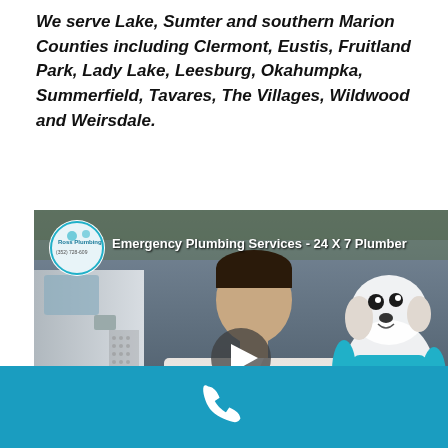We serve Lake, Sumter and southern Marion Counties including Clermont, Eustis, Fruitland Park, Lady Lake, Leesburg, Okahumpka, Summerfield, Tavares, The Villages, Wildwood and Weirsdale.
[Figure (screenshot): Video thumbnail for 'Emergency Plumbing Services - 24 X 7 Plumber' featuring a plumber in a white uniform shirt standing in front of a white van, with a cartoon dog mascot on the right. A play button is visible in the center.]
[Figure (infographic): Teal/blue bottom bar with a white phone icon in the center, indicating a click-to-call button.]